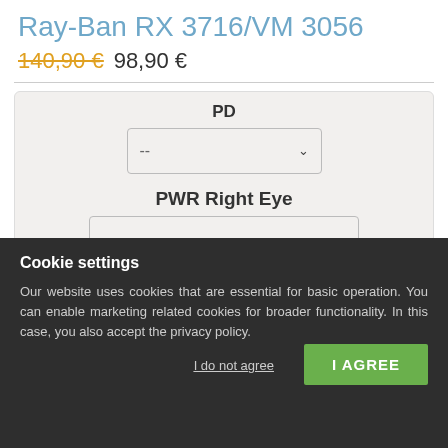Ray-Ban RX 3716/VM 3056
140,90 € 98,90 €
PD --
PWR Right Eye --
PWR Left Eye --
Cookie settings
Our website uses cookies that are essential for basic operation. You can enable marketing related cookies for broader functionality. In this case, you also accept the privacy policy.
I do not agree
I AGREE